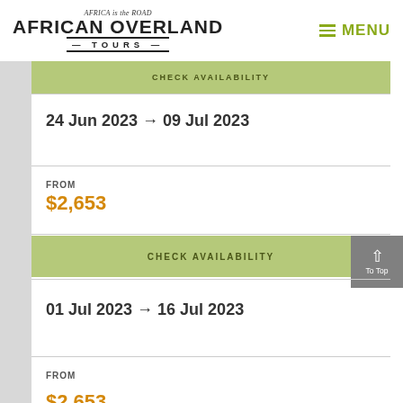[Figure (logo): African Overland Tours logo with text 'Africa is the Road' above stylized 'AFRICAN OVERLAND TOURS' with horizontal rules]
MENU
CHECK AVAILABILITY
24 Jun 2023 → 09 Jul 2023
FROM
$2,653
CHECK AVAILABILITY
01 Jul 2023 → 16 Jul 2023
FROM